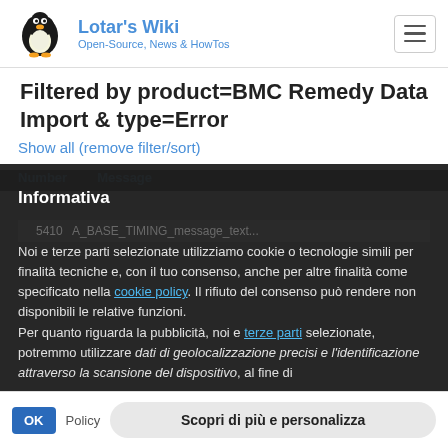Lotar's Wiki — Open-Source, News & HowTos
Filtered by product=BMC Remedy Data Import & type=Error
Show all (remove filter/sort)
| Number | Message |
| --- | --- |
Informativa
Noi e terze parti selezionate utilizziamo cookie o tecnologie simili per finalità tecniche e, con il tuo consenso, anche per altre finalità come specificato nella cookie policy. Il rifiuto del consenso può rendere non disponibili le relative funzioni.
Per quanto riguarda la pubblicità, noi e terze parti selezionate, potremmo utilizzare dati di geolocalizzazione precisi e l'identificazione attraverso la scansione del dispositivo, al fine di archiviare e/o accedere a informazioni su un dispositivo e trattare acconsentiti al loro utilizzo.
Accetta
OK  Policy  Scopri di più e personalizza